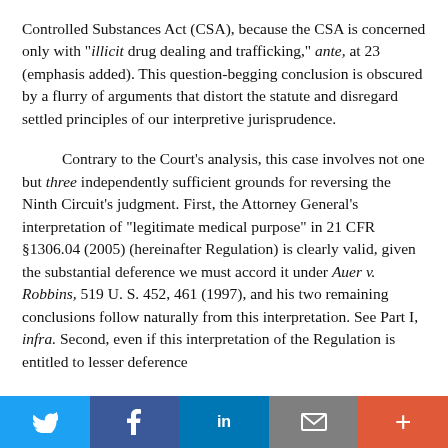Controlled Substances Act (CSA), because the CSA is concerned only with "illicit drug dealing and trafficking," ante, at 23 (emphasis added). This question-begging conclusion is obscured by a flurry of arguments that distort the statute and disregard settled principles of our interpretive jurisprudence.
Contrary to the Court's analysis, this case involves not one but three independently sufficient grounds for reversing the Ninth Circuit's judgment. First, the Attorney General's interpretation of "legitimate medical purpose" in 21 CFR §1306.04 (2005) (hereinafter Regulation) is clearly valid, given the substantial deference we must accord it under Auer v. Robbins, 519 U. S. 452, 461 (1997), and his two remaining conclusions follow naturally from this interpretation. See Part I, infra. Second, even if this interpretation of the Regulation is entitled to lesser deference
Twitter | Facebook | LinkedIn | Email | +